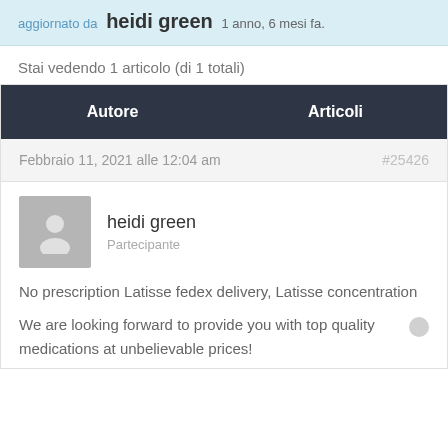aggiornato da heidi green 1 anno, 6 mesi fa.
Stai vedendo 1 articolo (di 1 totali)
| Autore | Articoli |
| --- | --- |
| Febbraio 11, 2021 alle 12:04 am | #25426 |
| heidi green
Partecipante |  |
| No prescription Latisse fedex delivery, Latisse concentration

We are looking forward to provide you with top quality medications at unbelievable prices! |  |
No prescription Latisse fedex delivery, Latisse concentration
We are looking forward to provide you with top quality medications at unbelievable prices!